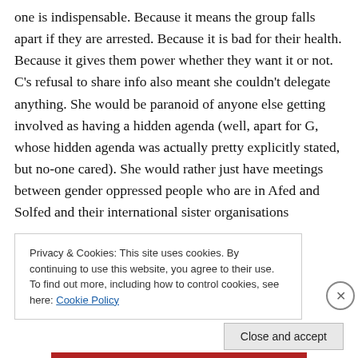one is indispensable. Because it means the group falls apart if they are arrested. Because it is bad for their health. Because it gives them power whether they want it or not. C's refusal to share info also meant she couldn't delegate anything. She would be paranoid of anyone else getting involved as having a hidden agenda (well, apart for G, whose hidden agenda was actually pretty explicitly stated, but no-one cared). She would rather just have meetings between gender oppressed people who are in Afed and Solfed and their international sister organisations
Privacy & Cookies: This site uses cookies. By continuing to use this website, you agree to their use.
To find out more, including how to control cookies, see here: Cookie Policy
Close and accept